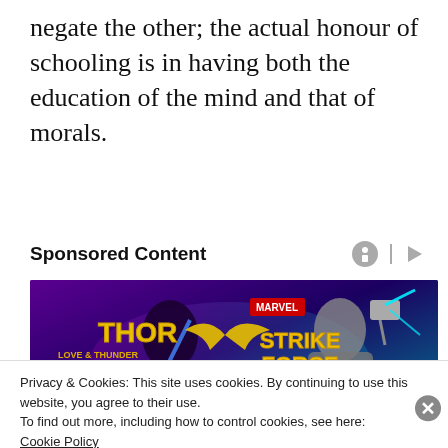negate the other; the actual honour of schooling is in having both the education of the mind and that of morals.
Sponsored Content
[Figure (illustration): Marvel Strike Force advertisement banner featuring Thor Love and Thunder characters — two armored superhero figures on a purple/teal gradient background with 'Marvel Strike Force' logo text.]
Privacy & Cookies: This site uses cookies. By continuing to use this website, you agree to their use.
To find out more, including how to control cookies, see here:
Cookie Policy
Close and accept